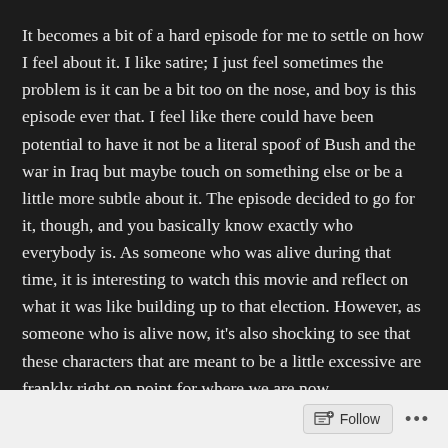It becomes a bit of a hard episode for me to settle on how I feel about it. I like satire; I just feel sometimes the problem is it can be a bit too on the nose, and boy is this episode ever that. I feel like there could have been potential to have it not be a literal spoof of Bush and the war in Iraq but maybe touch on something else or be a little more subtle about it. The episode decided to go for it, though, and you basically know exactly who everybody is. As someone who was alive during that time, it is interesting to watch this movie and reflect on what it was like building up to that election. However, as someone who is alive now, it's also shocking to see that these characters that are meant to be a little excessive are frankly right on point for where we are now.
However, for something so intent on calling out Bush
Follow ...